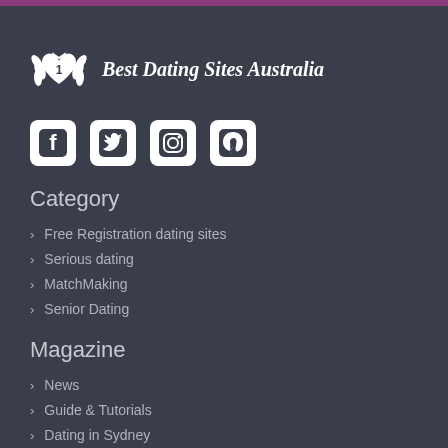[Figure (logo): Best Dating Sites Australia logo with crown/laurel wreath icon and italic bold text]
[Figure (infographic): Social media icons: Facebook, Twitter, Instagram, Pinterest]
Category
Free Registration dating sites
Serious dating
MatchMaking
Senior Dating
Magazine
News
Guide & Tutorials
Dating in Sydney
Dating in Melbourne